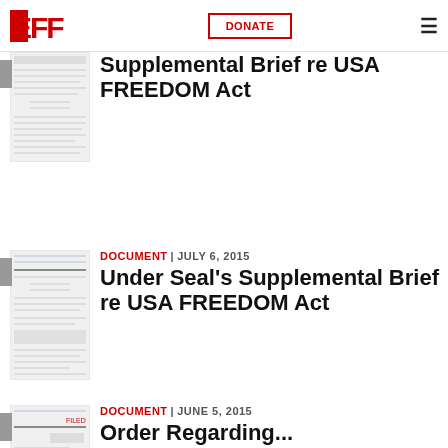[Figure (logo): EFF (Electronic Frontier Foundation) logo in red]
DONATE
DOCUMENT | JULY 6, 2015
DOCUMENT FILED 2015
Government Document
Supplemental Brief re USA FREEDOM Act
[Figure (screenshot): Thumbnail of legal document page 1]
DOCUMENT | JULY 6, 2015
Under Seal's Supplemental Brief re USA FREEDOM Act
[Figure (screenshot): Thumbnail of legal document page 2]
DOCUMENT | JUNE 5, 2015
Order Regarding...